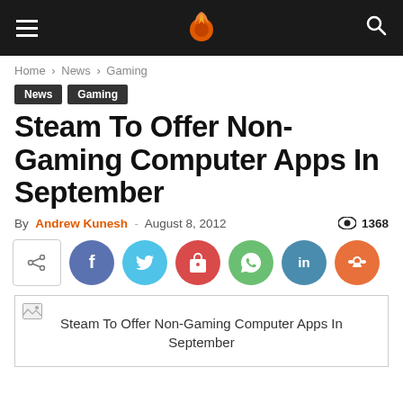Navigation bar with hamburger menu, logo (m), and search icon
Home › News › Gaming
News  Gaming
Steam To Offer Non-Gaming Computer Apps In September
By Andrew Kunesh - August 8, 2012  👁 1368
[Figure (infographic): Share/social buttons row: share icon box, Facebook, Twitter, Pinterest, WhatsApp, LinkedIn, Reddit]
[Figure (photo): Broken image placeholder with alt text: Steam To Offer Non-Gaming Computer Apps In September]